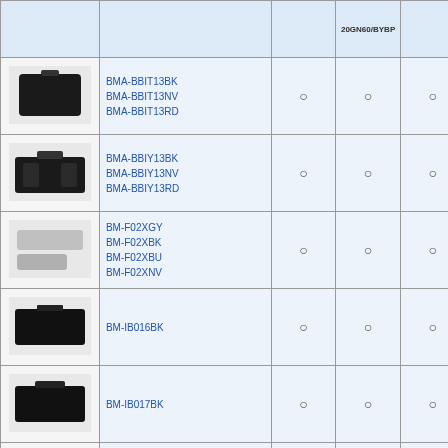| Image | Model | 20GN60/BYBP |  | 20GN50C |
| --- | --- | --- | --- | --- |
| [img] | BMA-BBIT13BK
BMA-BBIT13NV
BMA-BBIT13RD | ○ | ○ | ○ | ○ |
| [img] | BMA-BBIY13BK
BMA-BBIY13NV
BMA-BBIY13RD | ○ | ○ | ○ | ○ |
| [img] | BM-F02XGY
BM-F02XBK
BM-F02XBU
BM-F02XNV | ○ | ○ | ○ | ○ |
| [img] | BM-IB016BK | ○ | ○ | ○ | ○ |
| [img] | BM-IB017BK | ○ | ○ | ○ | ○ |
| [img] | BM-IBBX13BK | ○ | ○ | ○ | ○ |
| [img] | BM-IBAB14BK
BM-IBAB14NV | ○ | ○ | ○ | ○ |
| [img] |  |  |  |  |  |